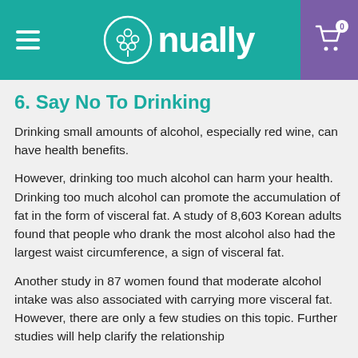[Figure (logo): Nually website header with teal background, hamburger menu on left, circular tree logo with 'nually' text in center, purple shopping cart icon with '0' badge on right]
6. Say No To Drinking
Drinking small amounts of alcohol, especially red wine, can have health benefits.
However, drinking too much alcohol can harm your health. Drinking too much alcohol can promote the accumulation of fat in the form of visceral fat. A study of 8,603 Korean adults found that people who drank the most alcohol also had the largest waist circumference, a sign of visceral fat.
Another study in 87 women found that moderate alcohol intake was also associated with carrying more visceral fat. However, there are only a few studies on this topic. Further studies will help clarify the relationship